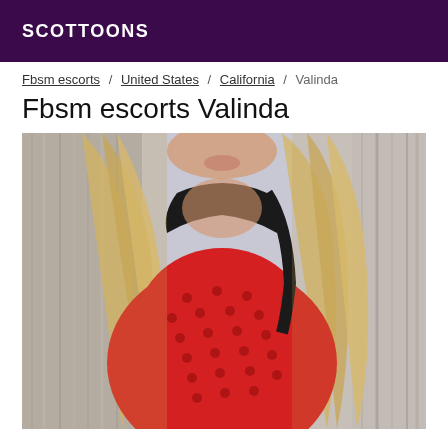SCOTTOONS
Fbsm escorts / United States / California / Valinda
Fbsm escorts Valinda
[Figure (photo): Close-up photo of a woman with long blonde hair wearing a red mesh top with black trim/collar]